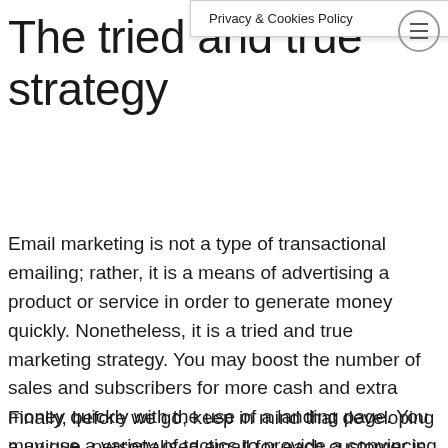Privacy & Cookies Policy
The tried and true strategy
Email marketing is not a type of transactional emailing; rather, it is a means of advertising a product or service in order to generate money quickly. Nonetheless, it is a tried and true marketing strategy. You may boost the number of sales and subscribers for more cash and extra money quickly with the use of a landing page. You may use a variety of tactics to provide a convincing offer to your consumers. To boost the success of your email marketing, you may utilise a combination of different methods.
Finally, before we go, keep in mind that developing a unique, personalised email for each customer is a